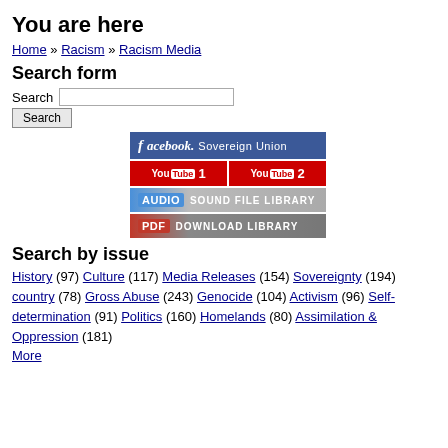You are here
Home » Racism » Racism Media
Search form
Search [input] Search [button]
[Figure (screenshot): Social media and resource links: Facebook Sovereign Union, YouTube 1, YouTube 2, Audio Sound File Library, PDF Download Library]
Search by issue
History (97) Culture (117) Media Releases (154) Sovereignty (194) country (78) Gross Abuse (243) Genocide (104) Activism (96) Self-determination (91) Politics (160) Homelands (80) Assimilation & Oppression (181) More